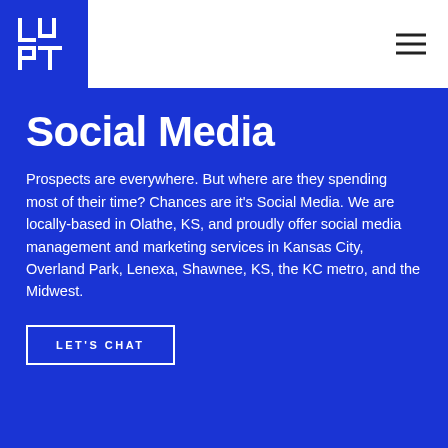[Figure (logo): LU PT logo in white on blue square background]
Social Media
Prospects are everywhere. But where are they spending most of their time? Chances are it's Social Media. We are locally-based in Olathe, KS, and proudly offer social media management and marketing services in Kansas City, Overland Park, Lenexa, Shawnee, KS, the KC metro, and the Midwest.
LET'S CHAT